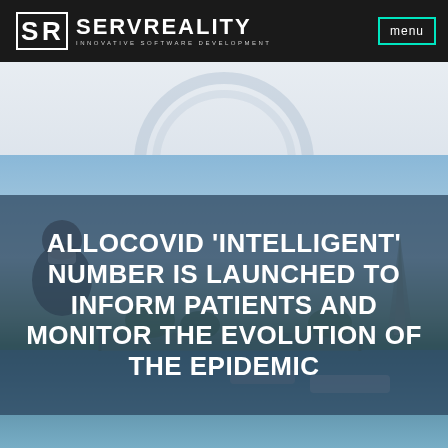SERVREALITY — INNOVATIVE SOFTWARE DEVELOPMENT | menu
[Figure (photo): Outdoor scene in Paris showing a masked man in foreground, the Seine river with boats, a bridge, greenery, and the Eiffel Tower partially visible on the right side, under a clear blue sky.]
ALLOCOVID 'INTELLIGENT' NUMBER IS LAUNCHED TO INFORM PATIENTS AND MONITOR THE EVOLUTION OF THE EPIDEMIC